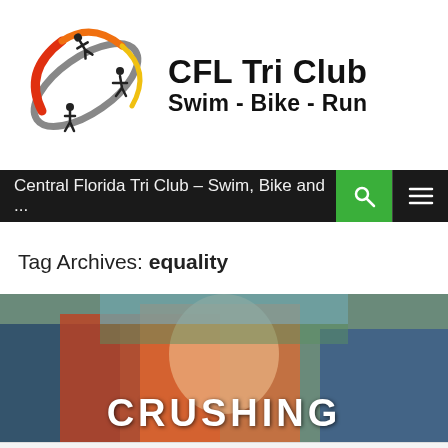[Figure (logo): CFL Tri Club logo with circular orbit graphic featuring swimmer, cyclist, runner silhouettes in red, orange, yellow, grey colors]
CFL Tri Club Swim - Bike - Run
Central Florida Tri Club – Swim, Bike and ...
Tag Archives: equality
[Figure (photo): Group of triathletes smiling outdoors in racing gear, with text overlay reading CRUSHING]
Follow ...